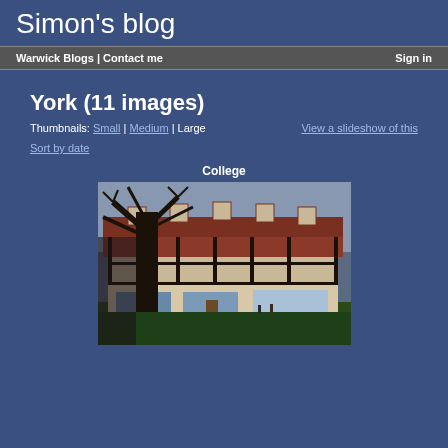Simon's blog
Warwick Blogs | Contact me    Sign in
York (11 images)
Thumbnails: Small | Medium | Large    View a slideshow of this
Sort by date
College
[Figure (photo): Photograph of a college building in York — a timber-framed historic building with red tiled roof and dormer windows, with a large tree in the foreground and a green lawn.]